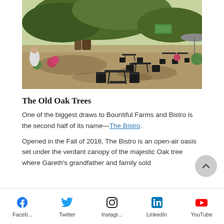[Figure (photo): Outdoor bistro area under large oak trees with black metal tables and chairs on gravel ground, flowers visible, bright daytime lighting]
The Old Oak Trees
One of the biggest draws to Bountiful Farms and Bistro is the second half of its name—The Bistro.
Opened in the Fall of 2018, The Bistro is an open-air oasis set under the verdant canopy of the majestic Oak tree where Gareth's grandfather and family sold
Faceb... Twitter Instagr... LinkedIn YouTube